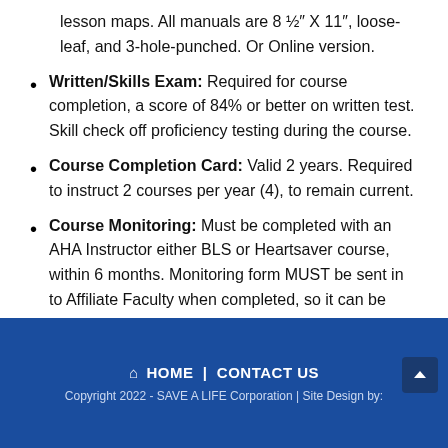lesson maps. All manuals are 8 ½″ X 11″, loose-leaf, and 3-hole-punched. Or Online version.
Written/Skills Exam: Required for course completion, a score of 84% or better on written test. Skill check off proficiency testing during the course.
Course Completion Card: Valid 2 years. Required to instruct 2 courses per year (4), to remain current.
Course Monitoring: Must be completed with an AHA Instructor either BLS or Heartsaver course, within 6 months. Monitoring form MUST be sent in to Affiliate Faculty when completed, so it can be sent in with ALL paperwork from class to designated Training Center.
🏠 HOME |  CONTACT US
Copyright 2022 - SAVE A LIFE Corporation | Site Design by: